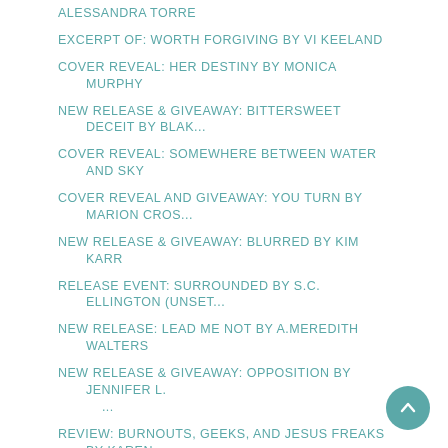ALESSANDRA TORRE
EXCERPT OF: WORTH FORGIVING BY VI KEELAND
COVER REVEAL: HER DESTINY BY MONICA MURPHY
NEW RELEASE & GIVEAWAY: BITTERSWEET DECEIT BY BLAK...
COVER REVEAL: SOMEWHERE BETWEEN WATER AND SKY
COVER REVEAL AND GIVEAWAY: YOU TURN BY MARION CROS...
NEW RELEASE & GIVEAWAY: BLURRED BY KIM KARR
RELEASE EVENT: SURROUNDED BY S.C. ELLINGTON (UNSET...
NEW RELEASE: LEAD ME NOT BY A.MEREDITH WALTERS
NEW RELEASE & GIVEAWAY: OPPOSITION BY JENNIFER L. ...
REVIEW: BURNOUTS, GEEKS, AND JESUS FREAKS BY KAREN...